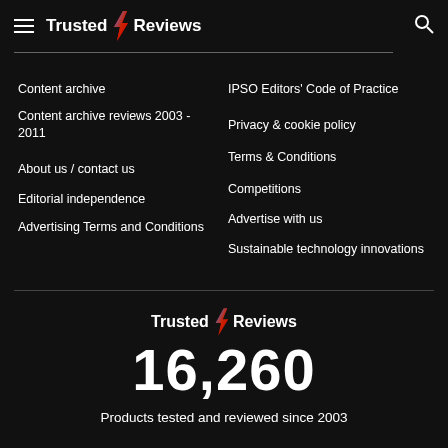Trusted Reviews
Content archive
Content archive reviews 2003 - 2011
About us / contact us
Editorial independence
Advertising Terms and Conditions
IPSO Editors' Code of Practice
Privacy & cookie policy
Terms & Conditions
Competitions
Advertise with us
Sustainable technology innovations
[Figure (logo): Trusted Reviews logo with lightning bolt]
16,260
Products tested and reviewed since 2003